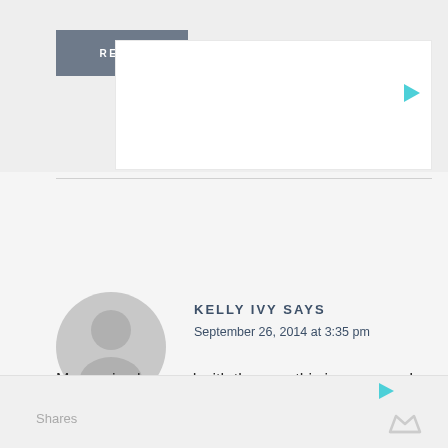REPLY
KELLY IVY SAYS
September 26, 2014 at 3:35 pm
My son is obsessed with the zoo, this is awesome!
REPLY
CLOSE
Shares